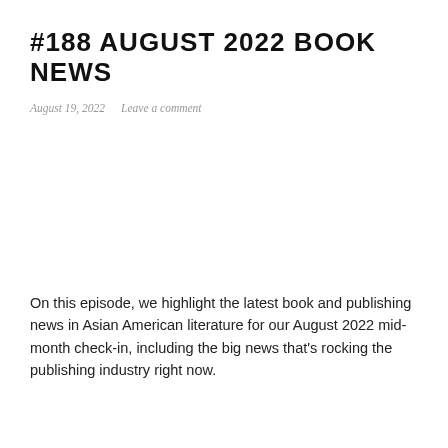#188 AUGUST 2022 BOOK NEWS
August 19, 2022   Leave a comment
On this episode, we highlight the latest book and publishing news in Asian American literature for our August 2022 mid-month check-in, including the big news that’s rocking the publishing industry right now.